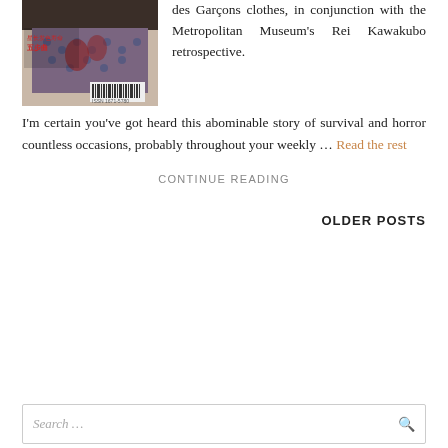[Figure (photo): Magazine cover showing a person wearing Comme des Garçons style patterned coat with Chinese text and barcode visible]
des Garçons clothes, in conjunction with the Metropolitan Museum's Rei Kawakubo retrospective. I'm certain you've got heard this abominable story of survival and horror countless occasions, probably throughout your weekly … Read the rest
CONTINUE READING
OLDER POSTS
Search …